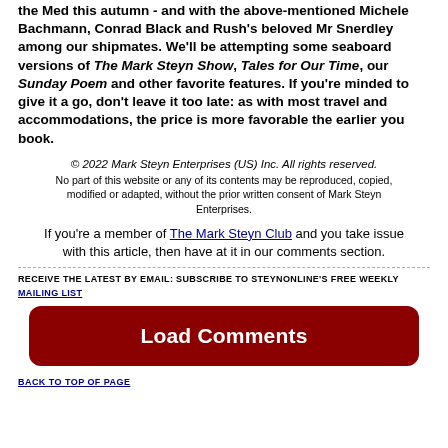the Med this autumn - and with the above-mentioned Michele Bachmann, Conrad Black and Rush's beloved Mr Snerdley among our shipmates. We'll be attempting some seaboard versions of The Mark Steyn Show, Tales for Our Time, our Sunday Poem and other favorite features. If you're minded to give it a go, don't leave it too late: as with most travel and accommodations, the price is more favorable the earlier you book.
© 2022 Mark Steyn Enterprises (US) Inc. All rights reserved.
No part of this website or any of its contents may be reproduced, copied, modified or adapted, without the prior written consent of Mark Steyn Enterprises.
If you're a member of The Mark Steyn Club and you take issue with this article, then have at it in our comments section.
RECEIVE THE LATEST BY EMAIL: SUBSCRIBE TO STEYNONLINE'S FREE WEEKLY MAILING LIST
Load Comments
BACK TO TOP OF PAGE